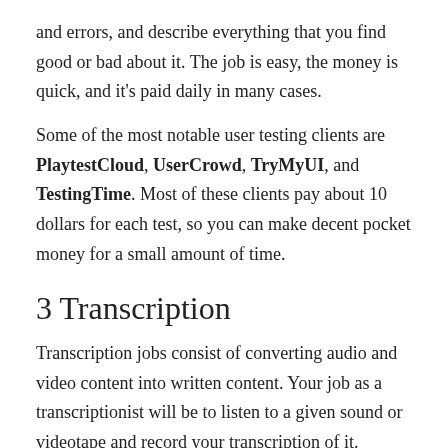and errors, and describe everything that you find good or bad about it. The job is easy, the money is quick, and it's paid daily in many cases.
Some of the most notable user testing clients are PlaytestCloud, UserCrowd, TryMyUI, and TestingTime. Most of these clients pay about 10 dollars for each test, so you can make decent pocket money for a small amount of time.
3 Transcription
Transcription jobs consist of converting audio and video content into written content. Your job as a transcriptionist will be to listen to a given sound or videotape and record your transcription of it.
A good platform for transcriptionists that are just starting out and are looking for entry-level engagements is Transcribe Me. This will be a good starting point if you're interested in this line of freelancing. The job is easy, and you can get paid daily for it.